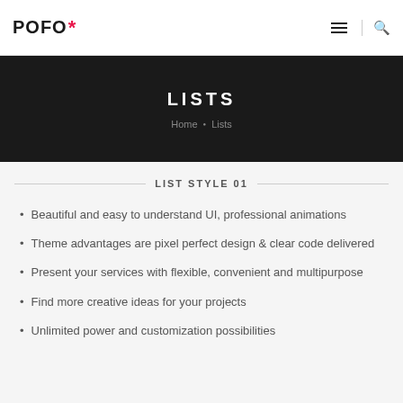POFO*
LISTS
Home • Lists
LIST STYLE 01
Beautiful and easy to understand UI, professional animations
Theme advantages are pixel perfect design & clear code delivered
Present your services with flexible, convenient and multipurpose
Find more creative ideas for your projects
Unlimited power and customization possibilities